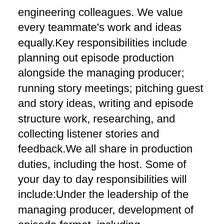engineering colleagues. We value every teammate's work and ideas equally.Key responsibilities include planning out episode production alongside the managing producer; running story meetings; pitching guest and story ideas, writing and episode structure work, researching, and collecting listener stories and feedback.We all share in production duties, including the host. Some of your day to day responsibilities will include:Under the leadership of the managing producer, development of episode format, including storyboarding and scriptingUnder the leadership with managing producer, work closely with show host, producers, audio engineer to develop the voice, sound aesthetic of the showwork closely with production coordinator to develop editorial and production plans timed to the